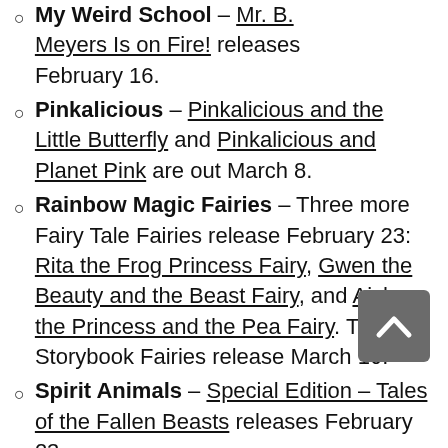My Weird School – Mr. B. Meyers Is on Fire! releases February 16.
Pinkalicious – Pinkalicious and the Little Butterfly and Pinkalicious and Planet Pink are out March 8.
Rainbow Magic Fairies – Three more Fairy Tale Fairies release February 23: Rita the Frog Princess Fairy, Gwen the Beauty and the Beast Fairy, and Aisha the Princess and the Pea Fairy. The Storybook Fairies release March 10.
Spirit Animals – Special Edition – Tales of the Fallen Beasts releases February 23.